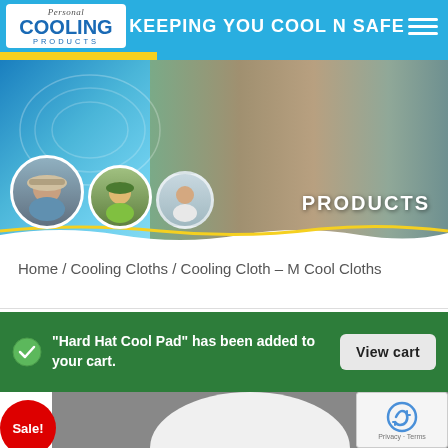[Figure (screenshot): Website header with Personal Cooling Products logo and 'Keeping you COOL N SAFE' tagline on blue background with hamburger menu]
[Figure (photo): Hero banner showing outdoor scenes with groups of people, circular portrait thumbnails at bottom left, and 'PRODUCTS' label at bottom right. Blue/teal/green color scheme with wave stripe.]
Home / Cooling Cloths / Cooling Cloth – M Cool Cloths
"Hard Hat Cool Pad" has been added to your cart.
View cart
[Figure (photo): Product image showing a white dome-shaped cooling cloth against a grey background, with a red Sale! badge in the top-left corner. reCAPTCHA widget overlaid at bottom right.]